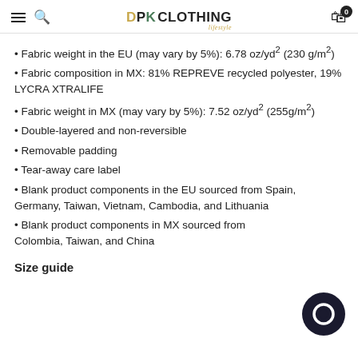DPK CLOTHING
Fabric weight in the EU (may vary by 5%): 6.78 oz/yd² (230 g/m²)
Fabric composition in MX: 81% REPREVE recycled polyester, 19% LYCRA XTRALIFE
Fabric weight in MX (may vary by 5%): 7.52 oz/yd² (255g/m²)
Double-layered and non-reversible
Removable padding
Tear-away care label
Blank product components in the EU sourced from Spain, Germany, Taiwan, Vietnam, Cambodia, and Lithuania
Blank product components in MX sourced from Colombia, Taiwan, and China
Size guide